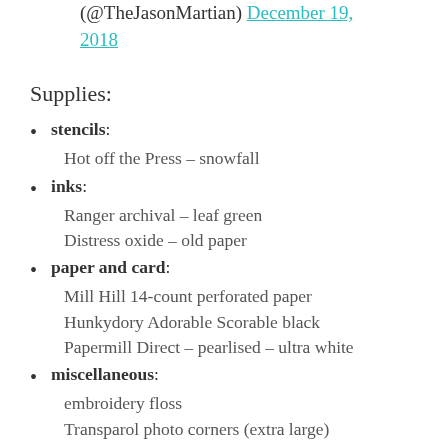(@TheJasonMartian) December 19, 2018
Supplies:
stencils: Hot off the Press – snowfall
inks: Ranger archival – leaf green
Distress oxide – old paper
paper and card: Mill Hill 14-count perforated paper
Hunkydory Adorable Scorable black
Papermill Direct – pearlised – ultra white
miscellaneous: embroidery floss
Transparol photo corners (extra large)